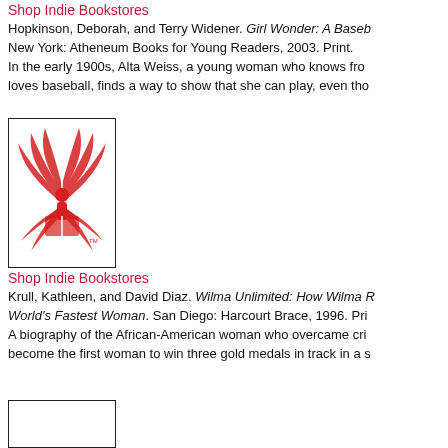Shop Indie Bookstores
Hopkinson, Deborah, and Terry Widener. Girl Wonder: A Baseb... New York: Atheneum Books for Young Readers, 2003. Print. In the early 1900s, Alta Weiss, a young woman who knows fro... loves baseball, finds a way to show that she can play, even tho...
[Figure (logo): Red illustrated logo of a person reading with stylized wings/feathers, IndieBound logo]
Shop Indie Bookstores
Krull, Kathleen, and David Diaz. Wilma Unlimited: How Wilma R... World's Fastest Woman. San Diego: Harcourt Brace, 1996. Pri... A biography of the African-American woman who overcame cri... become the first woman to win three gold medals in track in a s...
[Figure (illustration): Partial book cover image visible at bottom of page]